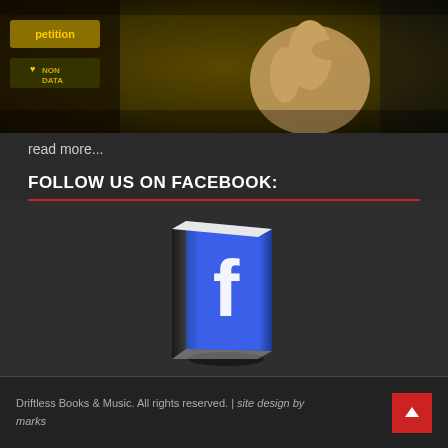[Figure (photo): Dark photo showing a person giving a thumbs up gesture with sticker/badge visible on left side]
read more...
FOLLOW US ON FACEBOOK:
[Figure (logo): Facebook logo rendered as a 3D book tilted at an angle with the Facebook 'f' on a blue cover]
Driftless Books & Music. All rights reserved. | site design by marks